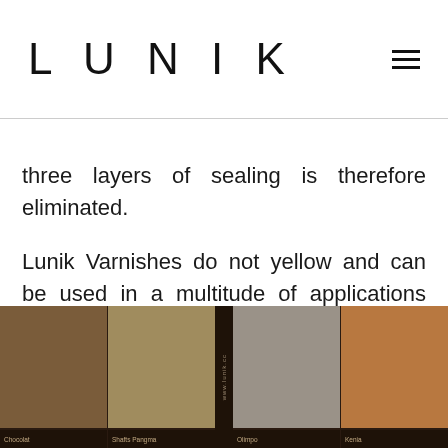Lunik
three layers of sealing is therefore eliminated.

Lunik Varnishes do not yellow and can be used in a multitude of applications thanks to their advanced composition.
[Figure (photo): Color swatch samples showing various brown and taupe tones labeled Chocolat, Shafts Pangma, Olimpo, Kenia, with a vertical strip showing www.lunik.cc]